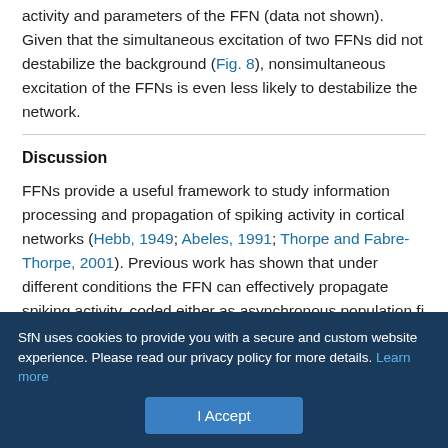cross talk between the two FFNs would depend on the network activity and parameters of the FFN (data not shown). Given that the simultaneous excitation of two FFNs did not destabilize the background (Fig. 8), nonsimultaneous excitation of the FFNs is even less likely to destabilize the network.
Discussion
FFNs provide a useful framework to study information processing and propagation of spiking activity in cortical networks (Hebb, 1949; Abeles, 1991; Thorpe and Fabre-Thorpe, 2001). Previous work has shown that under different conditions the FFN can effectively propagate spiking activity, coded either as asynchronous population fi[text cut off]
SfN uses cookies to provide you with a secure and custom website experience. Please read our privacy policy for more details. Learn more